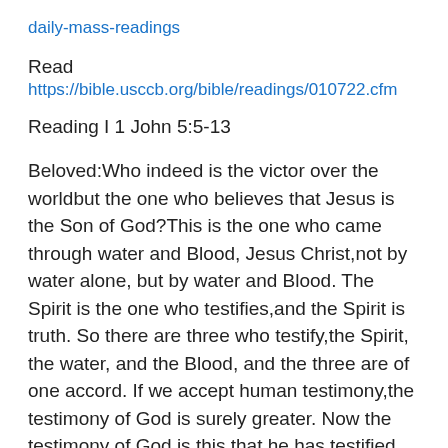daily-mass-readings
Read
https://bible.usccb.org/bible/readings/010722.cfm
Reading I 1 John 5:5-13
Beloved:Who indeed is the victor over the worldbut the one who believes that Jesus is the Son of God?This is the one who came through water and Blood, Jesus Christ,not by water alone, but by water and Blood. The Spirit is the one who testifies,and the Spirit is truth. So there are three who testify,the Spirit, the water, and the Blood, and the three are of one accord. If we accept human testimony,the testimony of God is surely greater. Now the testimony of God is this,that he has testified on behalf of his Son. Whoever believes in the Son of Godhas this testimony